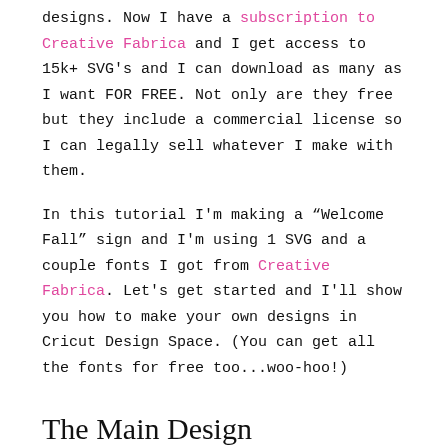designs. Now I have a subscription to Creative Fabrica and I get access to 15k+ SVG's and I can download as many as I want FOR FREE. Not only are they free but they include a commercial license so I can legally sell whatever I make with them.
In this tutorial I'm making a “Welcome Fall” sign and I'm using 1 SVG and a couple fonts I got from Creative Fabrica. Let's get started and I'll show you how to make your own designs in Cricut Design Space. (You can get all the fonts for free too...woo-hoo!)
The Main Design
Pick your main design element. For This project I used a pumpkin. I found this set of Fall SVG’s and downloaded all